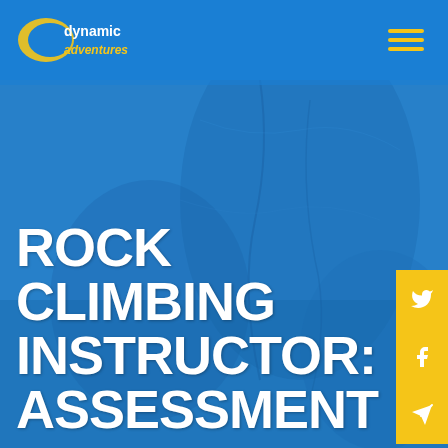[Figure (logo): Dynamic Adventures logo with yellow crescent oval shape and white text reading 'dynamic adventures']
[Figure (photo): Rock climbing wall background with blue overlay, showing a person climbing a textured rock face]
ROCK CLIMBING INSTRUCTOR: ASSESSMENT
Run twice a year - watch this space for dates